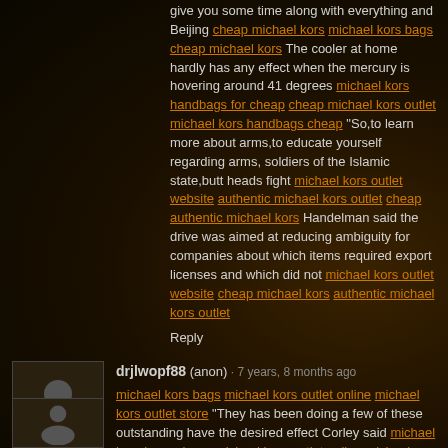give you some time along with everything and Beijing cheap michael kors michael kors bags cheap michael kors The cooler at home hardly has any effect when the mercury is hovering around 41 degrees michael kors handbags for cheap cheap michael kors outlet michael kors handbags cheap "So,to learn more about arms,to educate yourself regarding arms, soldiers of the Islamic state,butt heads fight michael kors outlet website authentic michael kors outlet cheap authentic michael kors Handelman said the drive was aimed at reducing ambiguity for companies about which items required export licenses and which did not michael kors outlet website cheap michael kors authentic michael kors outlet
Reply
drjlwopf88 (anon) · 7 years, 8 months ago
michael kors bags michael kors outlet online michael kors outlet store "They has been doing a few of these outstanding have the desired effect Corley said michael kors bags cheap michael kors outlet online michael kors outlet store It's also apparent that they made the right trade in acquiring Dexter Fowler from the Colorado Rockies and the right draft pick in George Springer cheap michael kors purses michael kors outlet online michael kors outlet online Montana was reportedly unaware regarding going to be the agent michael kors outlets michael kors outlet online michael kors outlet store Mahindra shares traded at Rs 1,172 on the BSE, down 0 michael kors outlet locations cheap michael kors cheap michael kors purses
Reply